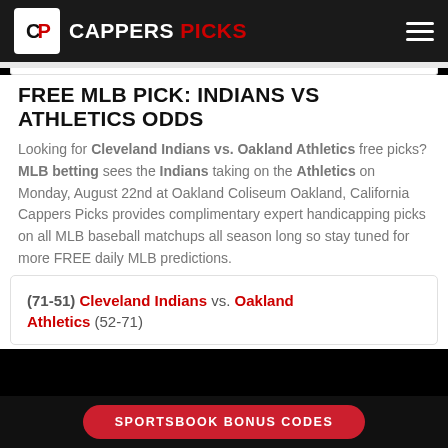CAPPERS PICKS
FREE MLB PICK: INDIANS VS ATHLETICS ODDS
Looking for Cleveland Indians vs. Oakland Athletics free picks? MLB betting sees the Indians taking on the Athletics on Monday, August 22nd at Oakland Coliseum Oakland, California Cappers Picks provides complimentary expert handicapping picks on all MLB baseball matchups all season long so stay tuned for more FREE daily MLB predictions.
(71-51) Cleveland Indians vs. Oakland Athletics (52-71)
SPORTSBOOK BONUS CODES